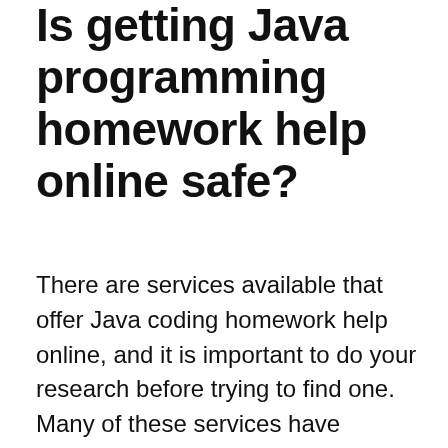Is getting Java programming homework help online safe?
There are services available that offer Java coding homework help online, and it is important to do your research before trying to find one. Many of these services have reviews and testimonials from satisfied customers. It is also important to ensure that you are paying for a service that has a chat option or phone call option so that you can contact a knowledgeable person if you are not getting